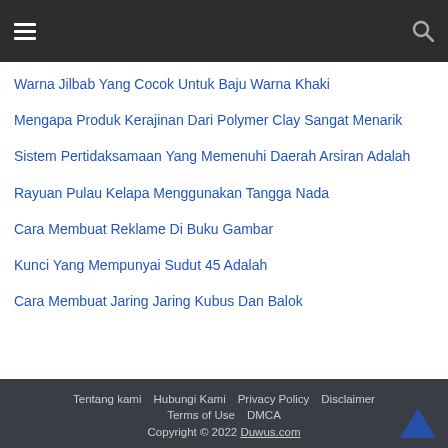Navigation header with hamburger menu and search icon
Warna Jilbab Yang Cocok Untuk Baju Warna Khaki
Mengapa Produk Kerajinan Dari Polymer Clay Sangat Menarik
Sistem Pertidaksamaan Yang Memenuhi Daerah Arsiran Adalah
Rayuan Pulau Kelapa Menggunakan Tangga Nada
Cara Membuat Reklame Di Buku Gambar
Kunci Yang Mempunyai Sudut 45 Adalah
Cara Membuat Jaring Jaring Kubus Dan Balok
Tentang kami   Hubungi Kami   Privacy Policy   Disclaimer   Terms of Use   DMCA   Copyright © 2022 Duwus.com